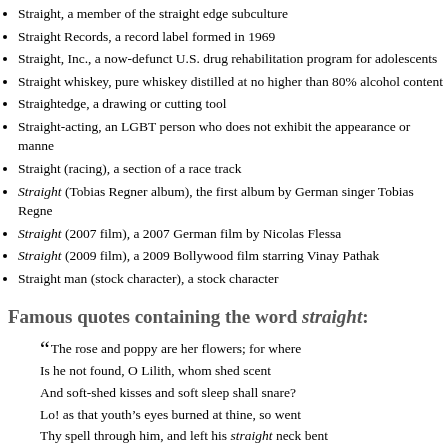Straight, a member of the straight edge subculture
Straight Records, a record label formed in 1969
Straight, Inc., a now-defunct U.S. drug rehabilitation program for adolescents
Straight whiskey, pure whiskey distilled at no higher than 80% alcohol content
Straightedge, a drawing or cutting tool
Straight-acting, an LGBT person who does not exhibit the appearance or manner
Straight (racing), a section of a race track
Straight (Tobias Regner album), the first album by German singer Tobias Regner
Straight (2007 film), a 2007 German film by Nicolas Flessa
Straight (2009 film), a 2009 Bollywood film starring Vinay Pathak
Straight man (stock character), a stock character
Famous quotes containing the word straight:
“ The rose and poppy are her flowers; for where
Is he not found, O Lilith, whom shed scent
And soft-shed kisses and soft sleep shall snare?
Lo! as that youth’s eyes burned at thine, so went
Thy spell through him, and left his straight neck bent
And round his heart one strangling golden hair.”